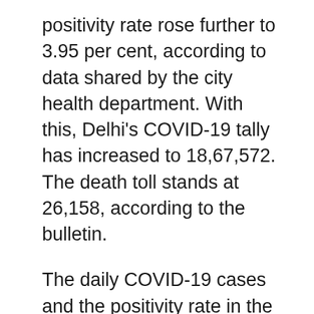positivity rate rose further to 3.95 per cent, according to data shared by the city health department. With this, Delhi's COVID-19 tally has increased to 18,67,572. The death toll stands at 26,158, according to the bulletin.
The daily COVID-19 cases and the positivity rate in the national capital have seen an upward trend in the last few days. Delhi had on Thursday recorded 325 COVID-19 cases and zero death, while the positivity rate stood at 2.39 per cent.
On Wednesday, 299 COVID-19 cases were